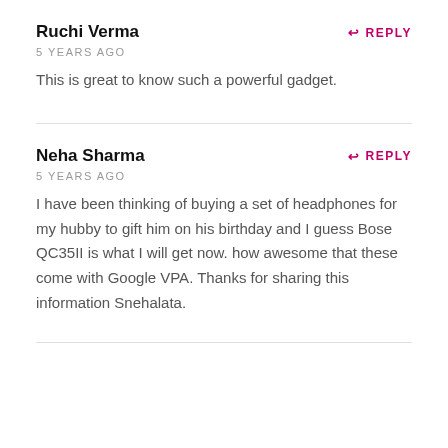Ruchi Verma
5 YEARS AGO
This is great to know such a powerful gadget.
Neha Sharma
5 YEARS AGO
I have been thinking of buying a set of headphones for my hubby to gift him on his birthday and I guess Bose QC35II is what I will get now. how awesome that these come with Google VPA. Thanks for sharing this information Snehalata.